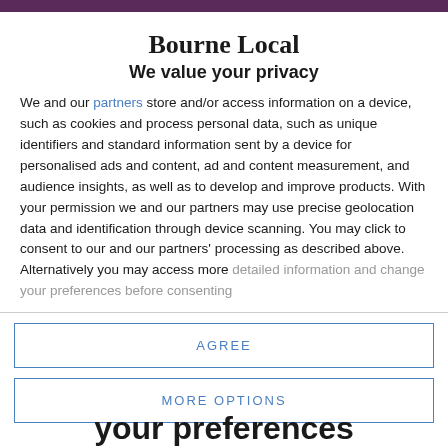Bourne Local
We value your privacy
We and our partners store and/or access information on a device, such as cookies and process personal data, such as unique identifiers and standard information sent by a device for personalised ads and content, ad and content measurement, and audience insights, as well as to develop and improve products. With your permission we and our partners may use precise geolocation data and identification through device scanning. You may click to consent to our and our partners' processing as described above. Alternatively you may access more detailed information and change your preferences before consenting
AGREE
MORE OPTIONS
your preferences